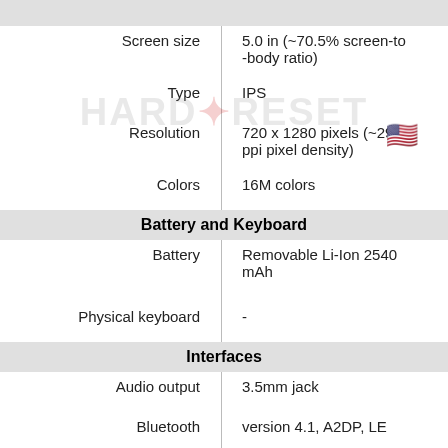| Property | Value |
| --- | --- |
| Screen size | 5.0 in (~70.5% screen-to-body ratio) |
| Type | IPS |
| Resolution | 720 x 1280 pixels (~294 ppi pixel density) |
| Colors | 16M colors |
| Battery and Keyboard |  |
| Battery | Removable Li-Ion 2540 mAh |
| Physical keyboard | - |
| Interfaces |  |
| Audio output | 3.5mm jack |
| Bluetooth | version 4.1, A2DP, LE |
| DLNA | No |
| GPS | Yes, with A-GPS, Geotagging, QuickGPS |
| Infrared port | No |
| NFC | No |
| USB | microUSB 2.0 |
| WLAN | Wi-Fi802.11b/g/n, Wi-Fi |